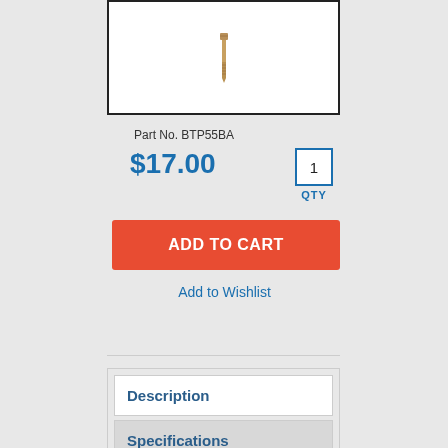[Figure (photo): Small brass bolt/fitting part on white background with black border]
Part No. BTP55BA
$17.00
1 QTY
ADD TO CART
Add to Wishlist
Description
Specifications